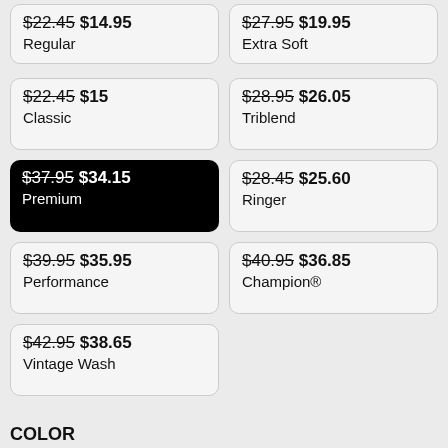$22.45 $14.95 Regular
$27.95 $19.95 Extra Soft
$22.45 $15 Classic
$28.95 $26.05 Triblend
$37.95 $34.15 Premium
$28.45 $25.60 Ringer
$39.95 $35.95 Performance
$40.95 $36.85 Champion®
$42.95 $38.65 Vintage Wash
COLOR
[Figure (other): Color swatches: white, navy, steel blue, royal blue, charcoal, light gray, khaki, teal, dark teal, olive, red, maroon, pink]